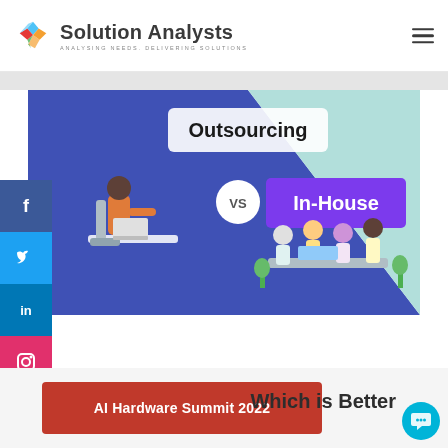[Figure (logo): Solution Analysts logo with star-shaped multicolor icon and text 'Solution Analysts - ANALYSING NEEDS. DELIVERING SOLUTIONS']
[Figure (infographic): Outsourcing vs In-House comparison infographic. Left side blue background with 'Outsourcing' label and illustration of person working at laptop. Right side light teal background with purple 'In-House' label and illustration of team working together. 'VS' circle in center.]
[Figure (illustration): Social media sidebar with Facebook (blue), Twitter (light blue), LinkedIn (dark blue), Instagram (red) icons]
Which is Better
AI Hardware Summit 2022